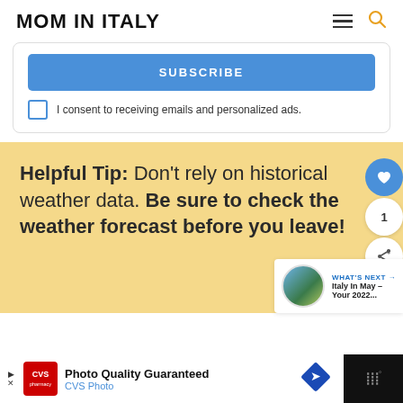MOM IN ITALY
SUBSCRIBE
I consent to receiving emails and personalized ads.
Helpful Tip: Don't rely on historical weather data. Be sure to check the weather forecast before you leave!
WHAT'S NEXT → Italy In May – Your 2022...
Photo Quality Guaranteed CVS Photo